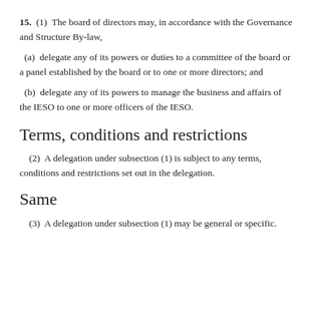15. (1) The board of directors may, in accordance with the Governance and Structure By-law,
(a) delegate any of its powers or duties to a committee of the board or a panel established by the board or to one or more directors; and
(b) delegate any of its powers to manage the business and affairs of the IESO to one or more officers of the IESO.
Terms, conditions and restrictions
(2) A delegation under subsection (1) is subject to any terms, conditions and restrictions set out in the delegation.
Same
(3) A delegation under subsection (1) may be general or specific.